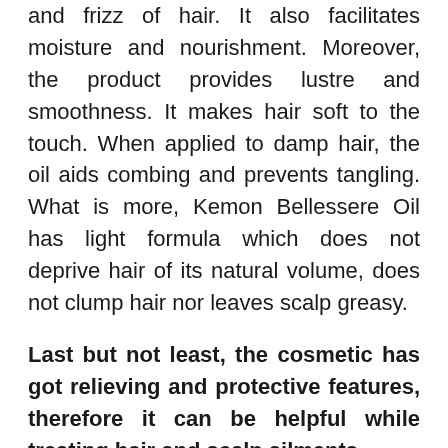and frizz of hair. It also facilitates moisture and nourishment. Moreover, the product provides lustre and smoothness. It makes hair soft to the touch. When applied to damp hair, the oil aids combing and prevents tangling. What is more, Kemon Bellessere Oil has light formula which does not deprive hair of its natural volume, does not clump hair nor leaves scalp greasy.
Last but not least, the cosmetic has got relieving and protective features, therefore it can be helpful while treating hair and scalp ailments.
Composition. Kemon Bellessere Oil contains two precious ingredients: argan oil and flaxseed oil. The first ingredient is reach in E vitamin and Omega-6 acids, due to which, the product is